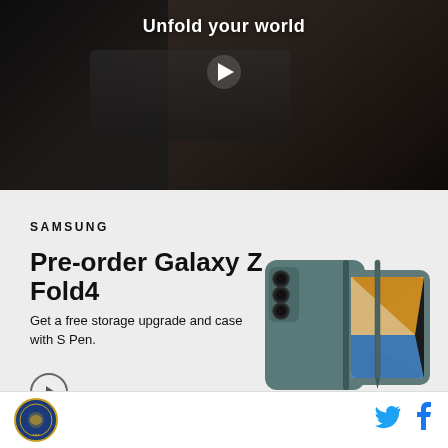[Figure (photo): Dark video thumbnail showing a person holding a foldable phone, with 'Unfold your world' text and a play button overlay]
SAMSUNG
Pre-order Galaxy Z Fold4
Get a free storage upgrade and case with S Pen.
[Figure (photo): Samsung Galaxy Z Fold4 phone shown folded in a teal/gray case with S Pen]
[Figure (logo): Circular emblem/seal logo in bottom left footer]
[Figure (logo): Twitter and Facebook social media icons in bottom right footer]